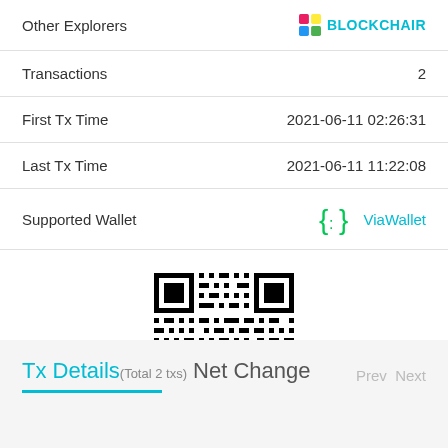| Field | Value |
| --- | --- |
| Other Explorers | BLOCKCHAIR |
| Transactions | 2 |
| First Tx Time | 2021-06-11 02:26:31 |
| Last Tx Time | 2021-06-11 11:22:08 |
| Supported Wallet | ViaWallet |
[Figure (other): QR code for cryptocurrency address]
Tx Details(Total 2 txs) Net Change
Prev  Next